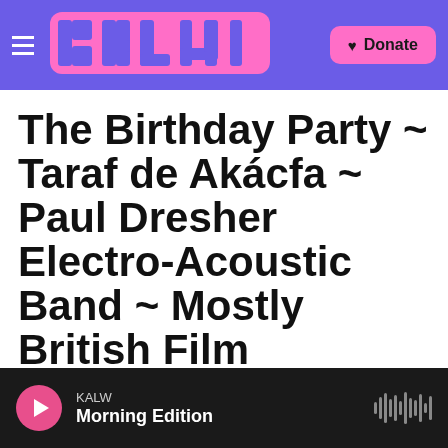KALW (logo) | Donate
The Birthday Party ~ Taraf de Akácfa ~ Paul Dresher Electro-Acoustic Band ~ Mostly British Film
KALW | By Niels Swinkels
Published January 24, 2018 at 3:06 PM PST
KALW Morning Edition (audio player)